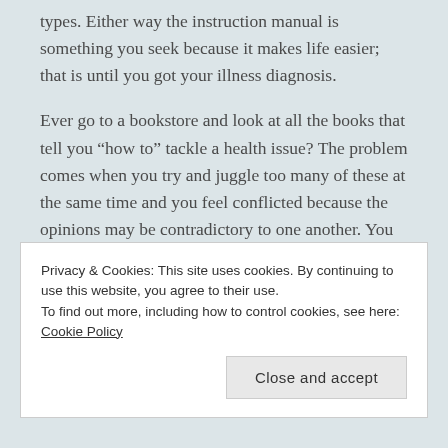types.  Either way the instruction manual is something you seek because it makes life easier; that is until you got your illness diagnosis.
Ever go to a bookstore and look at all the books that tell you “how to” tackle a health issue?  The problem comes when you try and juggle too many of these at the same time and you feel conflicted because the opinions may be contradictory to one another.  You have to remember that those writing the book are speaking of their experience.  When the books are written in the first person what you’re reading is their experience and it
Privacy & Cookies: This site uses cookies. By continuing to use this website, you agree to their use.
To find out more, including how to control cookies, see here: Cookie Policy